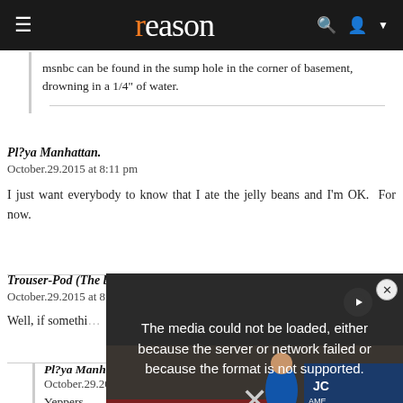reason
msnbc can be found in the sump hole in the corner of basement, drowning in a 1/4" of water.
Pl?ya Manhattan.
October.29.2015 at 8:11 pm

I just want everybody to know that I ate the jelly beans and I'm OK. For now.
Trouser-Pod (The blowhard)
October.29.2015 at 8:43 pm

Well, if somethi...
[Figure (screenshot): Video player overlay showing error message: 'The media could not be loaded, either because the server or network failed or because the format is not supported.' with a play button and X close button over a photo of protestors with signs including 'AMERICAN!']
Pl?ya Manha...
October.29.20...

Yeppers.
Trouser-Pod (The blowhard)
October.29.2015 at 9:21 pm